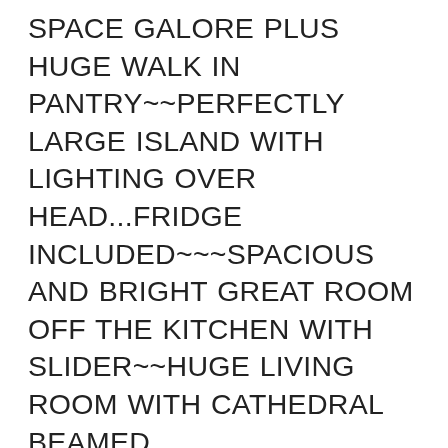SPACE GALORE PLUS HUGE WALK IN PANTRY~~PERFECTLY LARGE ISLAND WITH LIGHTING OVER HEAD...FRIDGE INCLUDED~~~SPACIOUS AND BRIGHT GREAT ROOM OFF THE KITCHEN WITH SLIDER~~HUGE LIVING ROOM WITH CATHEDRAL BEAMED CEILINGS~~FORMAL DINING ROOM WITH BUILT IN HUTCH! ~~KING SIZE MASTER BEDROOM WITH H U G E MIRRORED WALK-IN CLOSET, ATTACHED BONUS ROOM OFF MASTER...PERFECT FOR OFFICE/GYM/HOBBY ROOM OR NURSERY~~MASTER BATH HAS DUAL SINKS, GARDEN TUB PLUS SEPARATE SHOWER W/ENCLOSURE~~ ~~GUEST BEDROOM IS QUEEN SIZE WITH WALK IN CLOSET~~GUEST